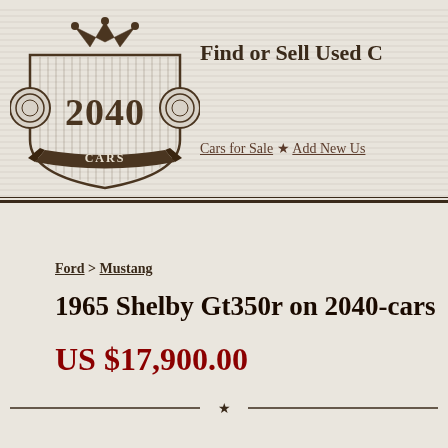[Figure (logo): 2040 Cars vintage shield logo with crown on top, headlights on sides, and ribbon banner reading CARS at bottom]
Find or Sell Used C
Cars for Sale ★ Add New Us
Ford > Mustang
1965 Shelby Gt350r on 2040-cars
US $17,900.00